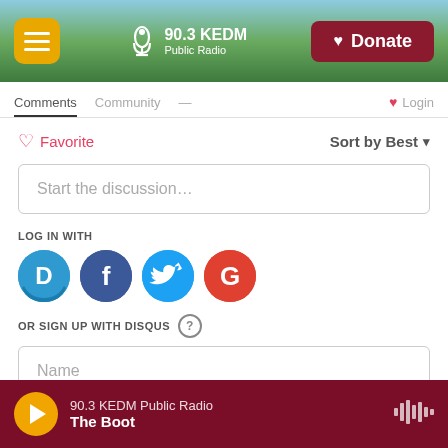90.3 KEDM Public Radio — Donate
[Figure (screenshot): 90.3 KEDM Public Radio website header with green tree background, hamburger menu button (yellow), logo with microphone, and red Donate button]
Comments  Community  Login
♡ Favorite    Sort by Best ▾
Start the discussion…
LOG IN WITH
[Figure (screenshot): Social login icons: Disqus (D, blue), Facebook (f, dark blue), Twitter (bird, light blue), Google (G, red)]
OR SIGN UP WITH DISQUS ?
Name
Be the first to comment
90.3 KEDM Public Radio — The Boot